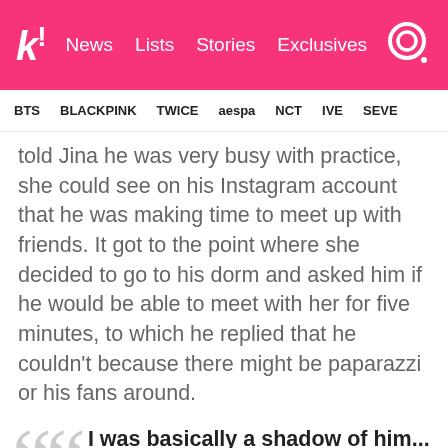k! News  Lists  Stories  Exclusives
BTS  BLACKPINK  TWICE  aespa  NCT  IVE  SEVE
told Jina he was very busy with practice, she could see on his Instagram account that he was making time to meet up with friends. It got to the point where she decided to go to his dorm and asked him if he would be able to meet with her for five minutes, to which he replied that he couldn't because there might be paparazzi or his fans around.
I was basically a shadow of him... Like an online girlfriend. We used to message and text and call, but I didn't meet him that often, so whenever I met him I felt like, 'this is very new.'